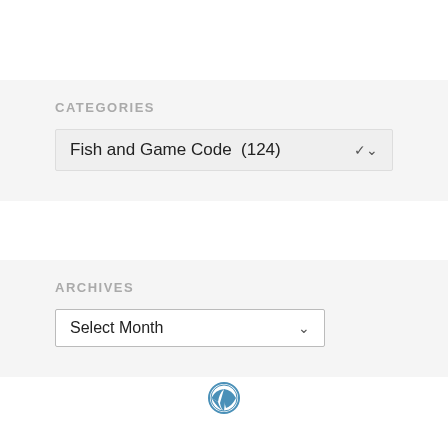CATEGORIES
Fish and Game Code  (124)
ARCHIVES
Select Month
[Figure (logo): WordPress logo icon in blue]